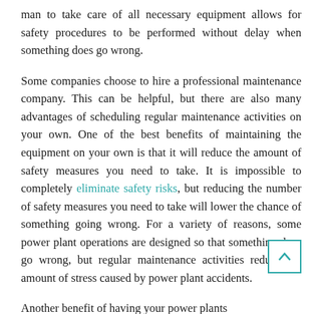man to take care of all necessary equipment allows for safety procedures to be performed without delay when something does go wrong.
Some companies choose to hire a professional maintenance company. This can be helpful, but there are also many advantages of scheduling regular maintenance activities on your own. One of the best benefits of maintaining the equipment on your own is that it will reduce the amount of safety measures you need to take. It is impossible to completely eliminate safety risks, but reducing the number of safety measures you need to take will lower the chance of something going wrong. For a variety of reasons, some power plant operations are designed so that something does go wrong, but regular maintenance activities reduce the amount of stress caused by power plant accidents.
Another benefit of having your power plants